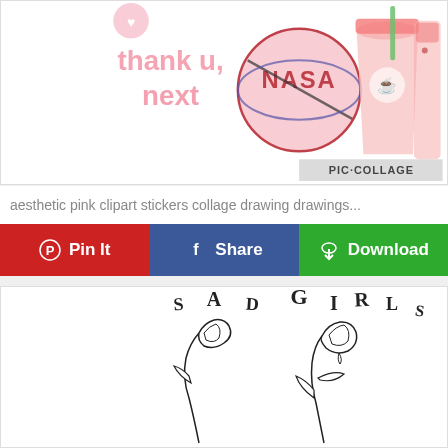[Figure (illustration): Aesthetic pink clipart stickers collage showing 'thank u, next' text in pink bubbly font, a pink NASA logo parody, a pink Starbucks drink, and a pink backpack. Watermark reads PIC·COLLAGE.]
aesthetic pink clipart stickers collage drawing drawings...
[Figure (illustration): Line art drawing of two roses with 'SAD GIRLS' text arranged around them in a scattered lettering style, black outlines on white background.]